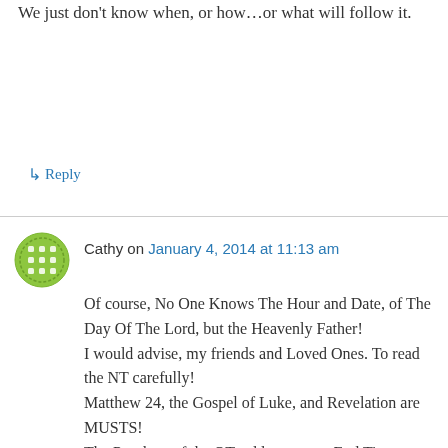We just don't know when, or how…or what will follow it.
↳ Reply
Cathy on January 4, 2014 at 11:13 am
Of course, No One Knows The Hour and Date, of The Day Of The Lord, but the Heavenly Father!
I would advise, my friends and Loved Ones. To read the NT carefully!
Matthew 24, the Gospel of Luke, and Revelation are MUSTS!
The Prophets of the OT, address many End Time scenarios, coupled with the NT, make it clear… He will Come. And with Glory… as King…